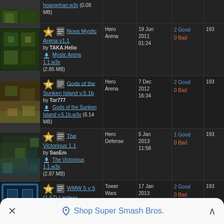| Map | Info | Category | Date | Votes | Count |
| --- | --- | --- | --- | --- | --- |
| (thumbnail) | hoangnhan.w3x (0.08 MB) |  |  |  |  |
| (thumbnail) | Nova Mystic Arena v1.1 by TAKA.Helio | Mystic Arena 1.1.w3x (2.85 MB) | Hero Arena | 19 Jun 2011 01:24 | 2 Good 0 Bad | 193 |
| (thumbnail) | Gods of the Sunken Island v.5.1b by Tor777 | Gods of the Sunken Island v.5.1b.w3x (6.14 MB) | Hero Arena | 7 Dec 2012 16:34 | 2 Good 0 Bad | 193 |
| (thumbnail) | The Victorious 1.1 by SaoEm | The Victorious 1.1.w3x (2.87 MB) | Hero Defense | 5 Jan 2013 11:58 | 1 Good 0 Bad | 193 |
| (thumbnail) | WMW 5 v 5 (1.57) Lagless by F-Train | Wintermaul Wars x1.57.w3x (0.21 MB) | Tower Wars | 17 Jan 2013 02:03 | 2 Good 0 Bad | 193 |
| (thumbnail) | Kill Arena 1.0 B | Hero Arena | 20 Nov | 1 Good 0 Bad | 193 |
× Shop Super Smash Bros. ^